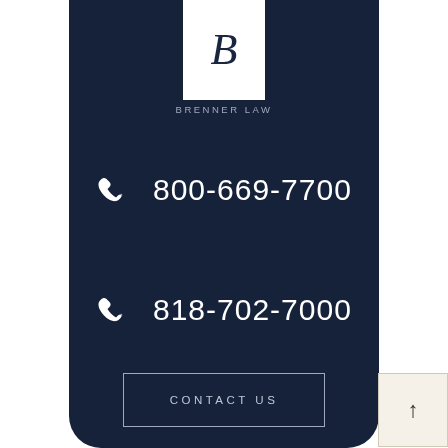[Figure (logo): Brenner Law logo with stylized B letter in white box on dark navy background]
BRENNER LAW
800-669-7700
818-702-7000
CONTACT US